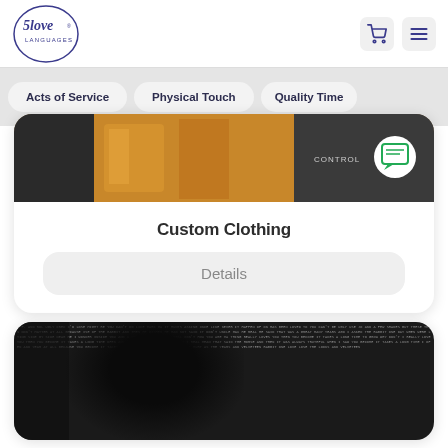[Figure (logo): 5 Love Languages logo - oval circle with stylized script text]
Acts of Service
Physical Touch
Quality Time
[Figure (photo): Photo of people wearing brown/tan jackets, showing clothing detail]
Custom Clothing
Details
[Figure (photo): Text mosaic portrait artwork made of small printed words on dark background]